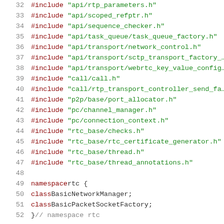32  #include "api/rtp_parameters.h"
33  #include "api/scoped_refptr.h"
34  #include "api/sequence_checker.h"
35  #include "api/task_queue/task_queue_factory.h"
36  #include "api/transport/network_control.h"
37  #include "api/transport/sctp_transport_factory_..."
38  #include "api/transport/webrtc_key_value_config..."
39  #include "call/call.h"
40  #include "call/rtp_transport_controller_send_fa..."
41  #include "p2p/base/port_allocator.h"
42  #include "pc/channel_manager.h"
43  #include "pc/connection_context.h"
44  #include "rtc_base/checks.h"
45  #include "rtc_base/rtc_certificate_generator.h"
46  #include "rtc_base/thread.h"
47  #include "rtc_base/thread_annotations.h"
48
49  namespace rtc {
50  class BasicNetworkManager;
51  class BasicPacketSocketFactory;
52  }  // namespace rtc